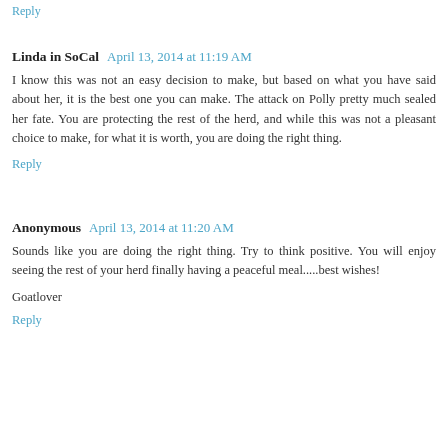Reply
Linda in SoCal   April 13, 2014 at 11:19 AM
I know this was not an easy decision to make, but based on what you have said about her, it is the best one you can make. The attack on Polly pretty much sealed her fate. You are protecting the rest of the herd, and while this was not a pleasant choice to make, for what it is worth, you are doing the right thing.
Reply
Anonymous   April 13, 2014 at 11:20 AM
Sounds like you are doing the right thing. Try to think positive. You will enjoy seeing the rest of your herd finally having a peaceful meal.....best wishes!
Goatlover
Reply